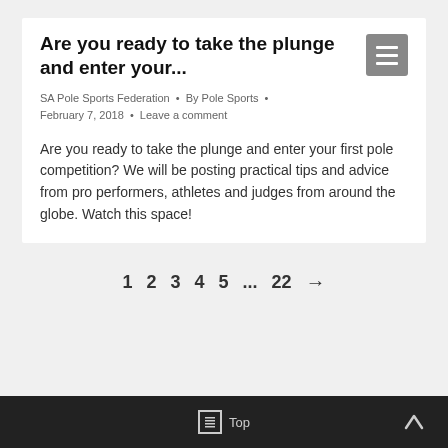Are you ready to take the plunge and enter your...
SA Pole Sports Federation • By Pole Sports • February 7, 2018 • Leave a comment
Are you ready to take the plunge and enter your first pole competition? We will be posting practical tips and advice from pro performers, athletes and judges from around the globe. Watch this space!
1  2  3  4  5  ...  22  →
Top